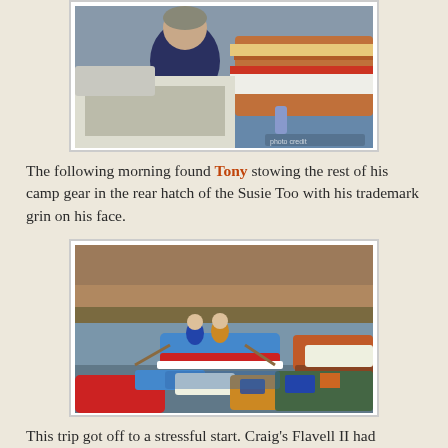[Figure (photo): A person in a dark blue sweatshirt stowing gear in the rear hatch of a wooden boat called 'Susie Too'. Multiple boats visible including white and wood-paneled hulls.]
The following morning found Tony stowing the rest of his camp gear in the rear hatch of the Susie Too with his trademark grin on his face.
[Figure (photo): A group of colorful wooden boats on a calm river or lake with red canyon walls in the background. A blue and red boat with two people aboard is prominent in the center. Several other boats are moored in the foreground.]
This trip got off to a stressful start. Craig's Flavell II had somehow become untied the night before and drifted away.